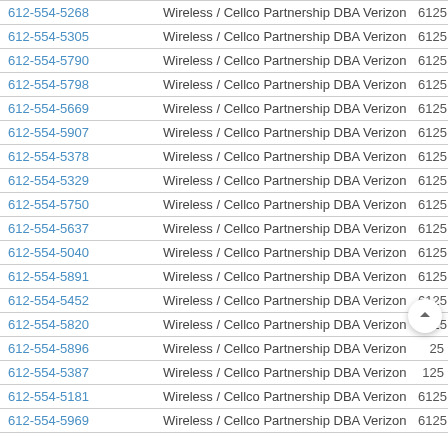|  |  |  |
| --- | --- | --- |
| 612-554-5268 | Wireless / Cellco Partnership DBA Verizon Wireless | 6125 |
| 612-554-5305 | Wireless / Cellco Partnership DBA Verizon Wireless | 6125 |
| 612-554-5790 | Wireless / Cellco Partnership DBA Verizon Wireless | 6125 |
| 612-554-5798 | Wireless / Cellco Partnership DBA Verizon Wireless | 6125 |
| 612-554-5669 | Wireless / Cellco Partnership DBA Verizon Wireless | 6125 |
| 612-554-5907 | Wireless / Cellco Partnership DBA Verizon Wireless | 6125 |
| 612-554-5378 | Wireless / Cellco Partnership DBA Verizon Wireless | 6125 |
| 612-554-5329 | Wireless / Cellco Partnership DBA Verizon Wireless | 6125 |
| 612-554-5750 | Wireless / Cellco Partnership DBA Verizon Wireless | 6125 |
| 612-554-5637 | Wireless / Cellco Partnership DBA Verizon Wireless | 6125 |
| 612-554-5040 | Wireless / Cellco Partnership DBA Verizon Wireless | 6125 |
| 612-554-5891 | Wireless / Cellco Partnership DBA Verizon Wireless | 6125 |
| 612-554-5452 | Wireless / Cellco Partnership DBA Verizon Wireless | 6125 |
| 612-554-5820 | Wireless / Cellco Partnership DBA Verizon Wireless | 6125 |
| 612-554-5896 | Wireless / Cellco Partnership DBA Verizon Wireless | 25 |
| 612-554-5387 | Wireless / Cellco Partnership DBA Verizon Wireless | 125 |
| 612-554-5181 | Wireless / Cellco Partnership DBA Verizon Wireless | 6125 |
| 612-554-5969 | Wireless / Cellco Partnership DBA Verizon Wireless | 6125 |